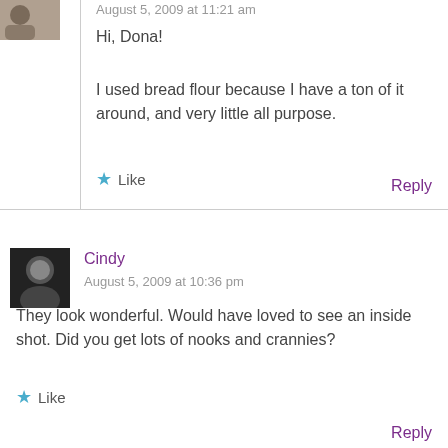August 5, 2009 at 11:21 am
Hi, Dona!
I used bread flour because I have a ton of it around, and very little all purpose.
Like
Reply
Cindy
August 5, 2009 at 10:36 pm
They look wonderful. Would have loved to see an inside shot. Did you get lots of nooks and crannies?
Like
Reply